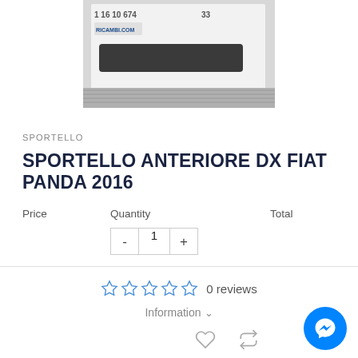[Figure (photo): Partial view of a white car door/panel with watermark text '1 16 10 674', '33', and 'RICAMBI.COM' visible]
SPORTELLO
SPORTELLO ANTERIORE DX FIAT PANDA 2016
Price   Quantity   Total
- 1 +
0 reviews
Information